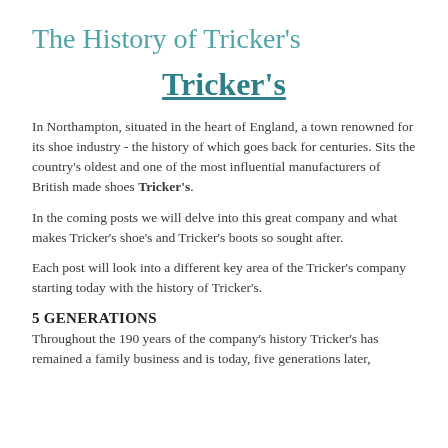The History of Tricker's
Tricker's
In Northampton, situated in the heart of England, a town renowned for its shoe industry - the history of which goes back for centuries. Sits the country's oldest and one of the most influential manufacturers of British made shoes Tricker's.
In the coming posts we will delve into this great company and what makes Tricker's shoe's and Tricker's boots so sought after.
Each post will look into a different key area of the Tricker's company starting today with the history of Tricker's.
5 GENERATIONS
Throughout the 190 years of the company's history Tricker's has remained a family business and is today, five generations later,